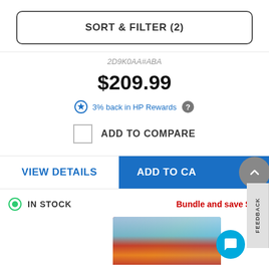SORT & FILTER (2)
2D9K0AA#ABA
$209.99
3% back in HP Rewards
ADD TO COMPARE
VIEW DETAILS
ADD TO CART
IN STOCK
Bundle and save $10
FEEDBACK
[Figure (photo): Product photo showing autumn foliage scene]